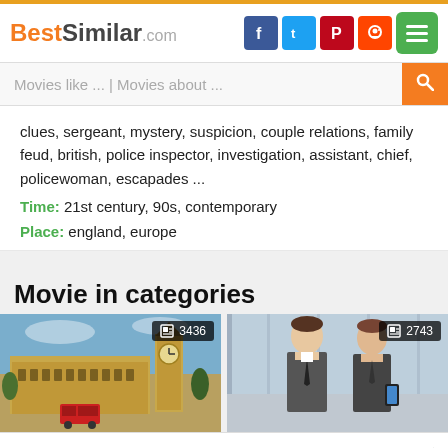BestSimilar.com
clues, sergeant, mystery, suspicion, couple relations, family feud, british, police inspector, investigation, assistant, chief, policewoman, escapades ...
Time: 21st century, 90s, contemporary
Place: england, europe
Movie in categories
[Figure (photo): Thumbnail of Big Ben / Houses of Parliament with badge showing 3436]
[Figure (photo): Thumbnail of two businessmen with badge showing 2743]
Cookies help us deliver our services. By using our website or clicking "Accept", you agree to our use of cookies as described in our Privacy Policy.